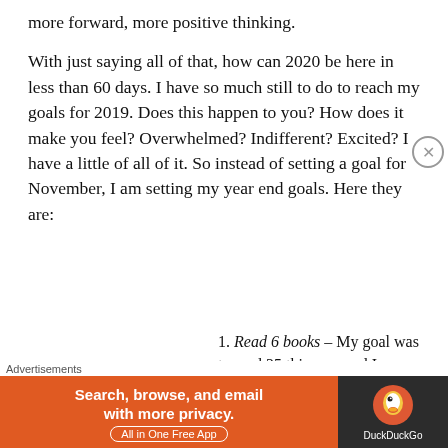more forward, more positive thinking.
With just saying all of that, how can 2020 be here in less than 60 days. I have so much still to do to reach my goals for 2019. Does this happen to you? How does it make you feel? Overwhelmed? Indifferent? Excited? I have a little of all of it. So instead of setting a goal for November, I am setting my year end goals. Here they are:
YOU DIDN'T COME THIS FAR TO ONLY COME
Read 6 books – My goal was to read 25 this year and I am only 6 away. I can do it. I just need to.
Enjoy the holidays 2019 I...
[Figure (other): DuckDuckGo advertisement banner: orange left panel with text 'Search, browse, and email with more privacy. All in One Free App' and dark right panel with DuckDuckGo logo and name.]